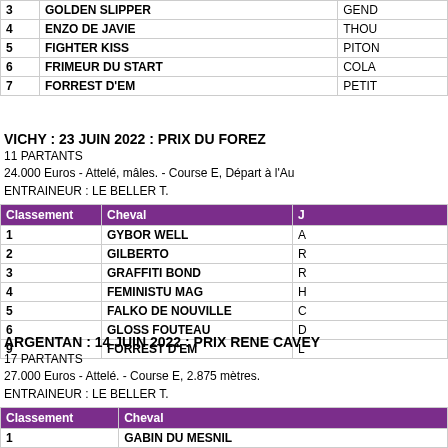| Classement | Cheval | J... |
| --- | --- | --- |
| 3 | GOLDEN SLIPPER | GEND... |
| 4 | ENZO DE JAVIE | THOU... |
| 5 | FIGHTER KISS | PITON... |
| 6 | FRIMEUR DU START | COLA... |
| 7 | FORREST D'EM | PETIT... |
VICHY : 23 JUIN 2022 : PRIX DU FOREZ
11 PARTANTS
24.000 Euros - Attelé, mâles. - Course E, Départ à l'Au...
ENTRAINEUR : LE BELLER T.
| Classement | Cheval | J... |
| --- | --- | --- |
| 1 | GYBOR WELL | A... |
| 2 | GILBERTO | R... |
| 3 | GRAFFITI BOND | R... |
| 4 | FEMINISTU MAG | H... |
| 5 | FALKO DE NOUVILLE | C... |
| 6 | GLOSS FOUTEAU | D... |
| 9 | FORREST D'EM | L... |
ARGENTAN : 14 JUIN 2022 : PRIX RENE CAVEY
17 PARTANTS
27.000 Euros - Attelé. - Course E, 2.875 mètres.
ENTRAINEUR : LE BELLER T.
| Classement | Cheval | ... |
| --- | --- | --- |
| 1 | GABIN DU MESNIL |  |
| 2 | GASTON DES SABLES |  |
| 3 | FARAMEL DE JADE |  |
| 4 | FEE DE LUNOJO |  |
| 5 | FEELING BOY |  |